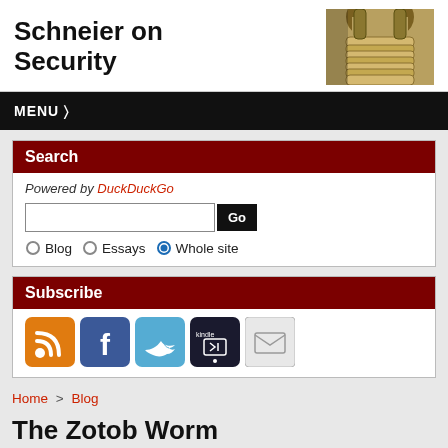Schneier on Security
[Figure (photo): Combination padlock photo in header]
MENU ▾
Search
Powered by DuckDuckGo
Go button, Blog radio, Essays radio, Whole site radio (selected)
Subscribe
[Figure (infographic): Subscribe icons: RSS, Facebook, Twitter, Kindle, Email]
Home > Blog
The Zotob Worm
If you'll forgive the possible comparison to hurricanes, Internet epidemics are much like severe weather: they